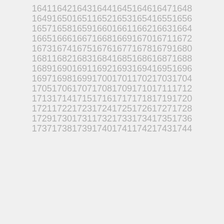1641 1642 1643 1644 1645 1646 1647 1648
1649 1650 1651 1652 1653 1654 1655 1656
1657 1658 1659 1660 1661 1662 1663 1664
1665 1666 1667 1668 1669 1670 1671 1672
1673 1674 1675 1676 1677 1678 1679 1680
1681 1682 1683 1684 1685 1686 1687 1688
1689 1690 1691 1692 1693 1694 1695 1696
1697 1698 1699 1700 1701 1702 1703 1704
1705 1706 1707 1708 1709 1710 1711 1712
1713 1714 1715 1716 1717 1718 1719 1720
1721 1722 1723 1724 1725 1726 1727 1728
1729 1730 1731 1732 1733 1734 1735 1736
1737 1738 1739 1740 1741 1742 1743 1744